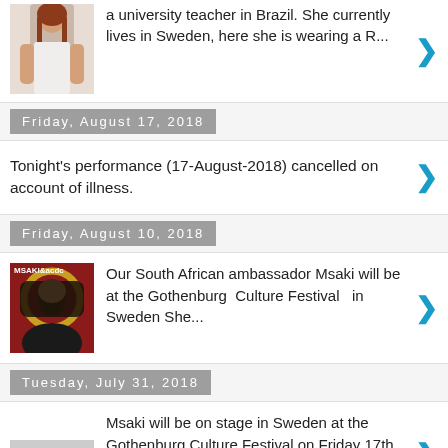[Figure (photo): Partial photo of a woman with red hair wearing white top, cropped at top of page]
a university teacher in Brazil. She currently lives in Sweden, here she is wearing a R...
Friday, August 17, 2018
Tonight's performance (17-August-2018) cancelled on account of illness.
Friday, August 10, 2018
[Figure (photo): Photo of Msaki, South African ambassador, with text MSAKI&acdc on red background with golden halo]
Our South African ambassador Msaki will be at the Gothenburg Culture Festival in Sweden She...
Tuesday, July 31, 2018
[Figure (photo): Small placeholder image thumbnail]
Msaki will be on stage in Sweden at the Gothenburg Culture Festival on Friday 17th of August at 19.30-20.30. Location Bältespännarparken -...
Friday, July 20, 2018